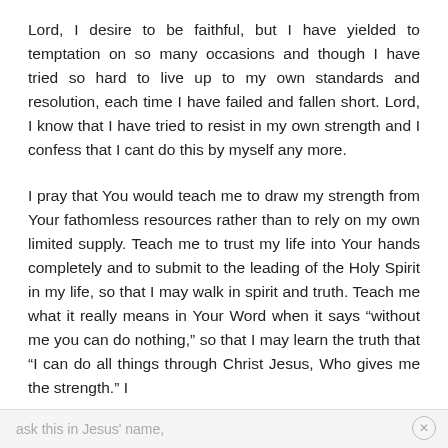Lord, I desire to be faithful, but I have yielded to temptation on so many occasions and though I have tried so hard to live up to my own standards and resolution, each time I have failed and fallen short. Lord, I know that I have tried to resist in my own strength and I confess that I cant do this by myself any more.
I pray that You would teach me to draw my strength from Your fathomless resources rather than to rely on my own limited supply. Teach me to trust my life into Your hands completely and to submit to the leading of the Holy Spirit in my life, so that I may walk in spirit and truth. Teach me what it really means in Your Word when it says “without me you can do nothing,” so that I may learn the truth that “I can do all things through Christ Jesus, Who gives me the strength.” I
ask this in Jesus' name,